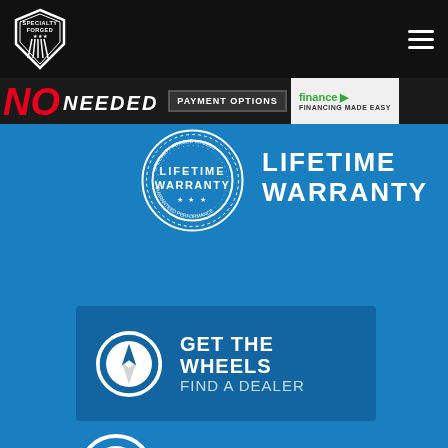[Figure (logo): Specialty Forged shield logo in white on black background, top left of header]
[Figure (infographic): Hamburger menu icon (three white horizontal lines) top right of header]
NO NEEDED   PAYMENT OPTIONS   finance ▶   FINANCING MADE EASY
[Figure (logo): Lifetime Warranty circular stamp badge in white outline]
LIFETIME WARRANTY
[Figure (infographic): Compass/navigation icon in white circle for Find a Dealer section]
GET THE WHEELS FIND A DEALER
[Figure (infographic): Partial white circle icon visible at bottom of page]